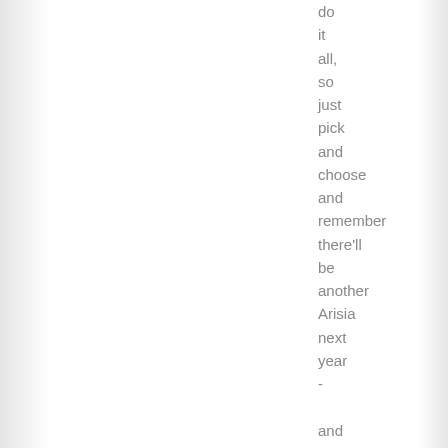do it all, so just pick and choose and remember there'll be another Arisia next year - and the year after that. You'll find yourself making friends that